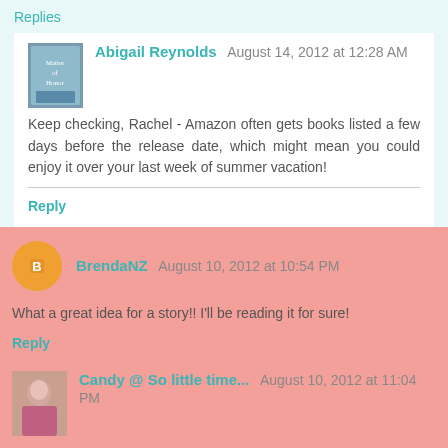Replies
Abigail Reynolds  August 14, 2012 at 12:28 AM
Keep checking, Rachel - Amazon often gets books listed a few days before the release date, which might mean you could enjoy it over your last week of summer vacation!
Reply
BrendaNZ  August 10, 2012 at 10:54 PM
What a great idea for a story!! I'll be reading it for sure!
Reply
Candy @ So little time...  August 10, 2012 at 11:04 PM
I cannot wait to read this book! It has all the elements I love it a story: rain, being stranded, D&E alone together!! Ooh! I am so looking forward to this! Thanks for the chance to win!